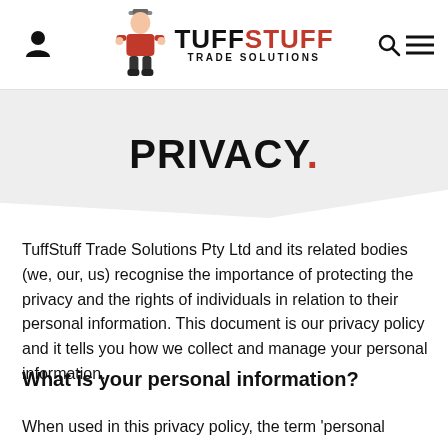TuffStuff Trade Solutions [logo with person icon and search/menu icon]
PRIVACY.
TuffStuff Trade Solutions Pty Ltd and its related bodies (we, our, us) recognise the importance of protecting the privacy and the rights of individuals in relation to their personal information. This document is our privacy policy and it tells you how we collect and manage your personal information.
What is your personal information?
When used in this privacy policy, the term 'personal